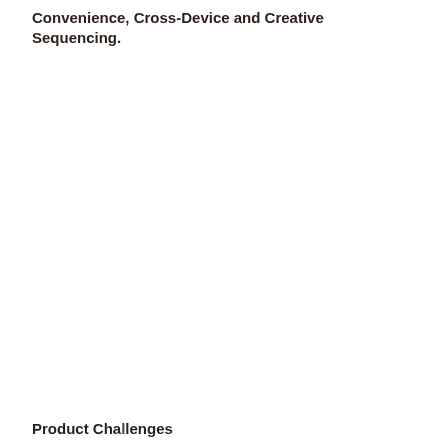Convenience, Cross-Device and Creative Sequencing.
Product Challenges